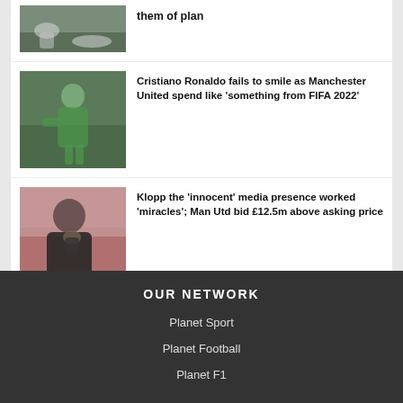[Figure (photo): Football players on a pitch, one player on the ground]
them of plan
[Figure (photo): Goalkeeper in green kit crouching down on the pitch]
Cristiano Ronaldo fails to smile as Manchester United spend like 'something from FIFA 2022'
[Figure (photo): Man in black jacket holding his face/phone, appears to be Jurgen Klopp]
Klopp the 'innocent' media presence worked 'miracles'; Man Utd bid £12.5m above asking price
OUR NETWORK
Planet Sport
Planet Football
Planet F1